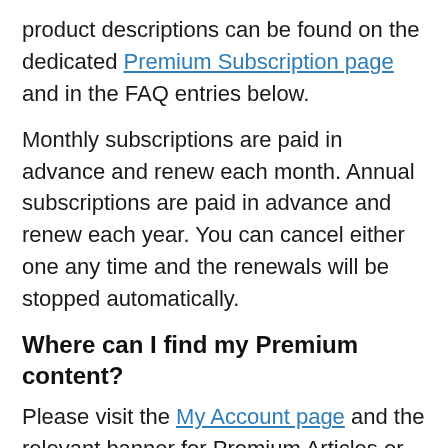product descriptions can be found on the dedicated Premium Subscription page and in the FAQ entries below.
Monthly subscriptions are paid in advance and renew each month. Annual subscriptions are paid in advance and renew each year. You can cancel either one any time and the renewals will be stopped automatically.
Where can I find my Premium content?
Please visit the My Account page and the relevant banner for Premium Articles or Investment Reports & Tools.
I'm having problems logging in
Best thing to do is reset your password on the Login